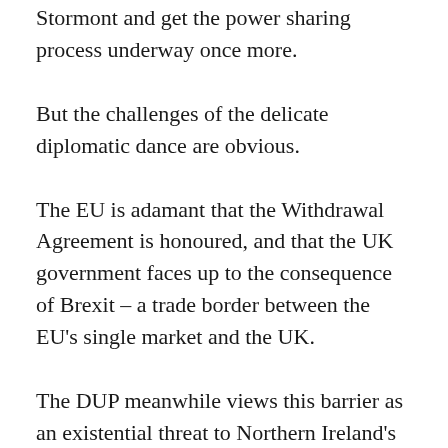Stormont and get the power sharing process underway once more.
But the challenges of the delicate diplomatic dance are obvious.
The EU is adamant that the Withdrawal Agreement is honoured, and that the UK government faces up to the consequence of Brexit – a trade border between the EU's single market and the UK.
The DUP meanwhile views this barrier as an existential threat to Northern Ireland's standing as part of the United Kingdom and is little mood to compromise.
Mr Johnson is gambling that risking a fight with Brussels might bring the DUP around. If he's wrong, not only will he